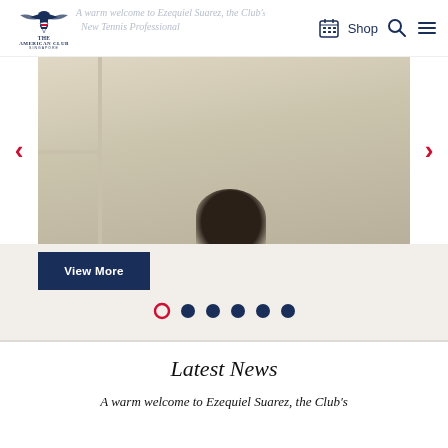[Figure (logo): The American Club Singapore logo with eagle emblem]
A warm welcome to Ezequiel Suarez, the Club's New Tennis Professional
[Figure (photo): Partial view of a person, slider image with gray/beige tones]
View More
[Figure (other): Carousel navigation dots: 1 red outlined circle (active) and 5 solid dark navy circles]
Latest News
A warm welcome to Ezequiel Suarez, the Club's